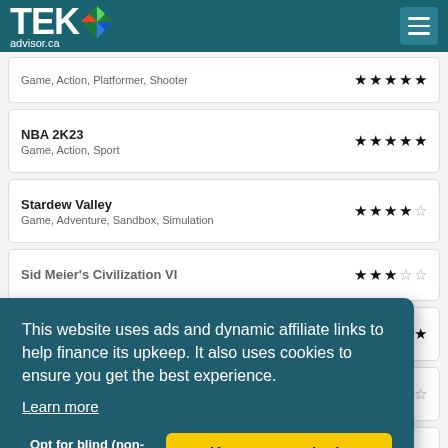TEKadvisor.ca
Game, Action, Platformer, Shooter
NBA 2K23 — Game, Action, Sport — ★★★★★
Stardew Valley — Game, Adventure, Sandbox, Simulation — ★★★★☆
Sid Meier's Civilization VI — ★★★☆☆
★★★☆☆
★★☆☆☆
★★★☆☆
This website uses ads and dynamic affiliate links to help finance its upkeep. It also uses cookies to ensure you get the best experience. Learn more — Opt for blind (non-targeted) ads | Keep targeted ads
Rocket League — ★★★